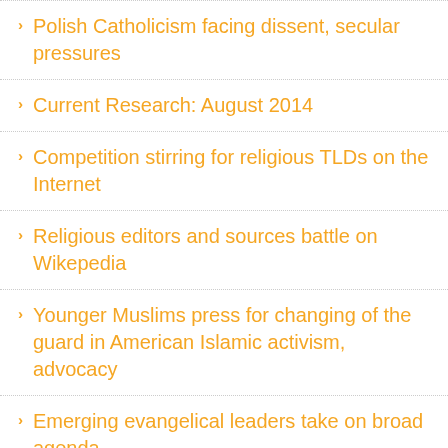Polish Catholicism facing dissent, secular pressures
Current Research: August 2014
Competition stirring for religious TLDs on the Internet
Religious editors and sources battle on Wikepedia
Younger Muslims press for changing of the guard in American Islamic activism, advocacy
Emerging evangelical leaders take on broad agenda